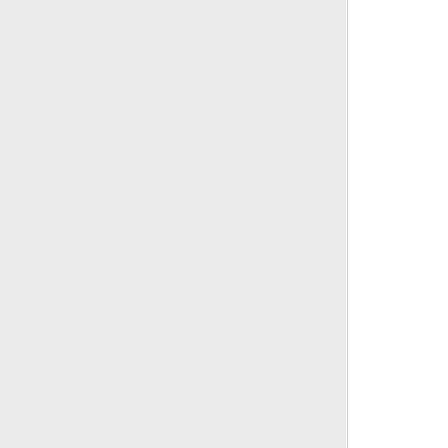melee weapon
7.12 Leg
The knee, including the knee cap, the areas 25.4mm (1 inch) above and below the kneecap